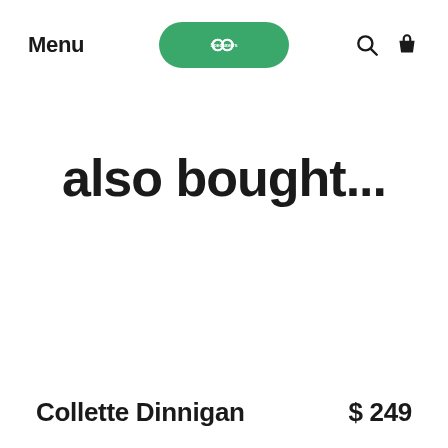Menu | Specsavers | Search | Bag
also bought...
Collette Dinnigan   $ 249